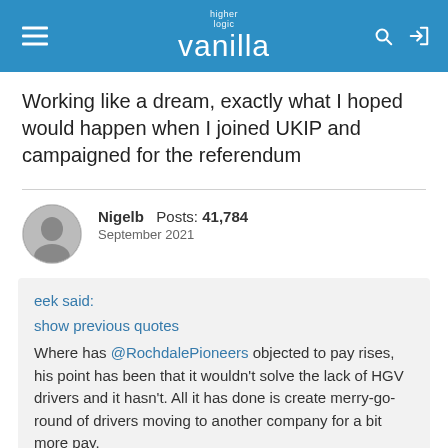higher logic vanilla
Working like a dream, exactly what I hoped would happen when I joined UKIP and campaigned for the referendum
Nigelb  Posts: 41,784  September 2021
eek said:
show previous quotes
Where has @RochdalePioneers objected to pay rises, his point has been that it wouldn't solve the lack of HGV drivers and it hasn't. All it has done is create merry-go-round of drivers moving to another company for a bit more pay.